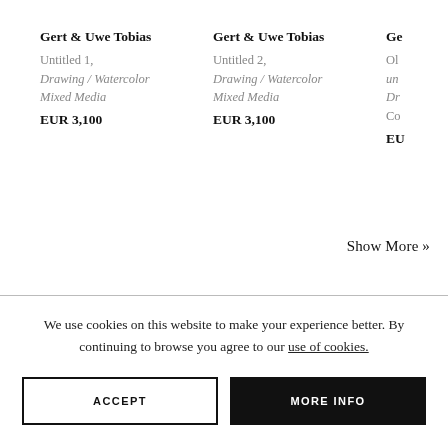Gert & Uwe Tobias
Untitled 1,
Drawing / Watercolor
Mixed Media
EUR 3,100
Gert & Uwe Tobias
Untitled 2,
Drawing / Watercolor
Mixed Media
EUR 3,100
Ge
Ol
un
Dr
Co
EU
Show More »
We use cookies on this website to make your experience better. By continuing to browse you agree to our use of cookies.
ACCEPT
MORE INFO